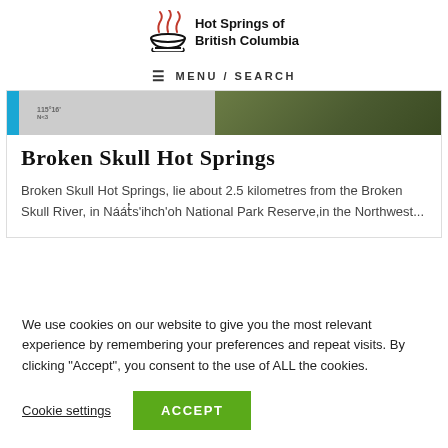Hot Springs of British Columbia
☰  MENU / SEARCH
[Figure (screenshot): Partial map thumbnail on the left with a blue vertical bar and small text, and a nature/forest photo on the right]
Broken Skull Hot Springs
Broken Skull Hot Springs, lie about 2.5 kilometres from the Broken Skull River, in Náát̓s'ihch'oh National Park Reserve,in the Northwest...
We use cookies on our website to give you the most relevant experience by remembering your preferences and repeat visits. By clicking "Accept", you consent to the use of ALL the cookies.
Cookie settings   ACCEPT